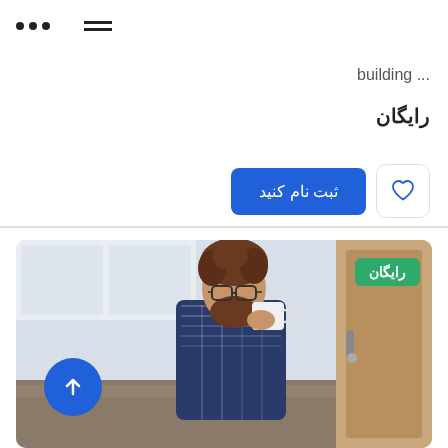... (dots menu) ≡ (hamburger)
building ...
رایگان
[Figure (screenshot): Blue register button labeled 'ثبت نام کنید' and a heart/favorite button]
[Figure (photo): Photo of a bearded man with glasses drinking from a white mug in a kitchen, wearing a plaid shirt. A blue circle scroll-up button with an arrow is overlaid at bottom left. A green badge reading 'رایگان' is in the top right corner of the image.]